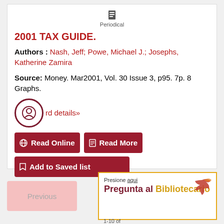Periodical
2001 TAX GUIDE.
Authors : Nash, Jeff; Powe, Michael J.; Josephs, Katherine Zamira
Source: Money. Mar2001, Vol. 30 Issue 3, p95. 7p. 8 Graphs.
record details»
Read Online
Read More
Add to Saved list
Previous
Presione aqui
Pregunta al Bibliotecario
1-10 of